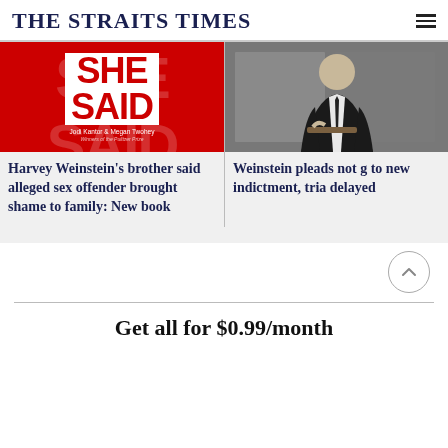THE STRAITS TIMES
[Figure (photo): Book cover of 'She Said' by Jodi Kantor & Megan Twohey, red background with large white text]
[Figure (photo): Harvey Weinstein in dark suit and tie, standing at what appears to be a courtroom railing]
Harvey Weinstein's brother said alleged sex offender brought shame to family: New book
Weinstein pleads not g to new indictment, tria delayed
Get all for $0.99/month